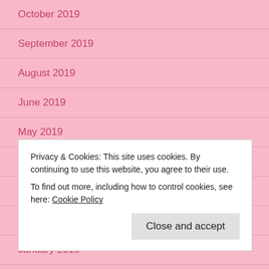October 2019
September 2019
August 2019
June 2019
May 2019
April 2019
March 2019
February 2019
January 2019
December 2018
November 2018
Privacy & Cookies: This site uses cookies. By continuing to use this website, you agree to their use.
To find out more, including how to control cookies, see here: Cookie Policy
Close and accept